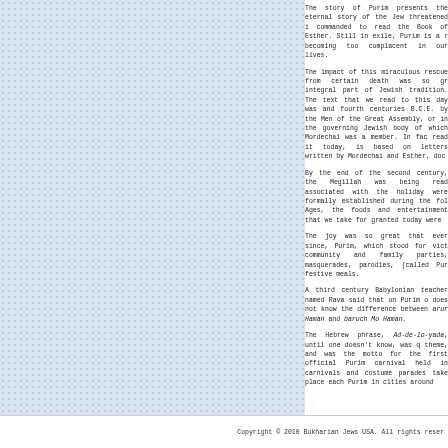The story of Purim presents the eternal story of the Jew threatened i... commanded to read the Book of Esther. Still in exile, Purim is a r... becoming too complacent in our lives.
The impact of this miraculous rescue from certain death was so gr... integral part of Jewish tradition. The text that we read to this day was... and fourth centuries B.C.E. by the Men of the Great Assembly, or in... the governing Jewish body of which Mordechai was a member. In fac... read it today, is based on letters written by Mordechai and Esther, doc...
By the end of the second century, the Megillah was being read... associated with the holiday were formally established during the fol... Ages, the foods and entertainment that we take for granted today were...
The joy was so great that ever since, Purim, which stood for vict... community and family parties, masquerades, parodies, (called Pur... festive meals.
A third century Babylonian teacher named Rava said that on Purim o... does not know the difference between arur Haman and baruch Mo... Haman.
The Hebrew phrase, Ad-de-lo-yada, until one doesn't know, was q... theme, and was the motto for the first official Purim carnival held in... carnivals and costume parades take place each Purim in cities around...
Copyright © 2010 Bukharian Jews USA. All rights reser...